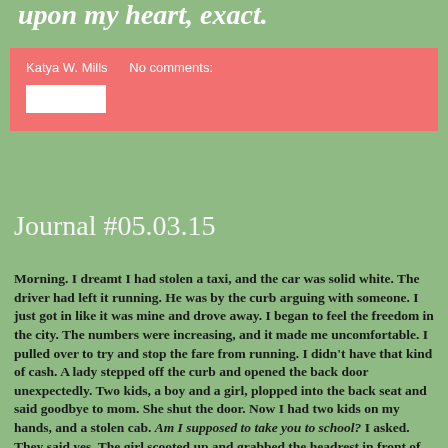upon my heart, exact.
Katya W. Mills    No comments:
Journal #05.03.15
Morning. I dreamt I had stolen a taxi, and the car was solid white. The driver had left it running. He was by the curb arguing with someone. I just got in like it was mine and drove away. I began to feel the freedom in the city. The numbers were increasing, and it made me uncomfortable. I pulled over to try and stop the fare from running. I didn't have that kind of cash. A lady stepped off the curb and opened the back door unexpectedly. Two kids, a boy and a girl, plopped into the back seat and said goodbye to mom. She shut the door. Now I had two kids on my hands, and a stolen cab. Am I supposed to take you to school? I asked. They said yes. The girl scooted up and grabbed the headrest in front of her, and pulled close to take a